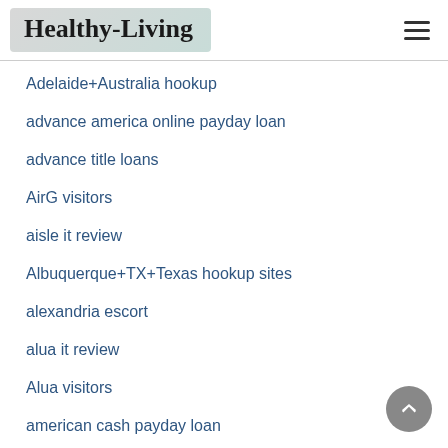Healthy-Living
Adelaide+Australia hookup
advance america online payday loan
advance title loans
AirG visitors
aisle it review
Albuquerque+TX+Texas hookup sites
alexandria escort
alua it review
Alua visitors
american cash payday loan